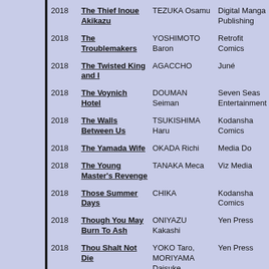| Year | Title | Author | Publisher |
| --- | --- | --- | --- |
| 2018 | The Thief Inoue Akikazu | TEZUKA Osamu | Digital Manga Publishing |
| 2018 | The Troublemakers | YOSHIMOTO Baron | Retrofit Comics |
| 2018 | The Twisted King and I | AGACCHO | Juné |
| 2018 | The Voynich Hotel | DOUMAN Seiman | Seven Seas Entertainment |
| 2018 | The Walls Between Us | TSUKISHIMA Haru | Kodansha Comics |
| 2018 | The Yamada Wife | OKADA Richi | Media Do |
| 2018 | The Young Master's Revenge | TANAKA Meca | Viz Media |
| 2018 | Those Summer Days | CHIKA | Kodansha Comics |
| 2018 | Though You May Burn To Ash | ONIYAZU Kakashi | Yen Press |
| 2018 | Thou Shalt Not Die | YOKO Taro, MORIYAMA Daisuke | Yen Press |